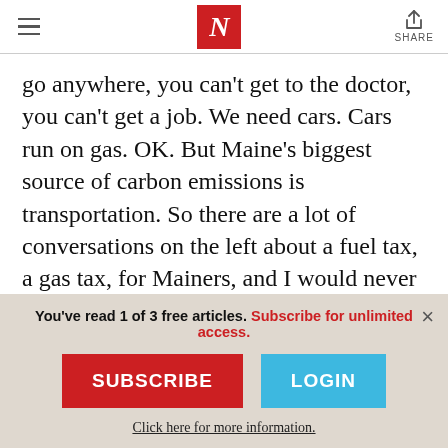N — [Navigation header with hamburger menu, The Nation logo, and Share button]
go anywhere, you can't get to the doctor, you can't get a job. We need cars. Cars run on gas. OK. But Maine's biggest source of carbon emissions is transportation. So there are a lot of conversations on the left about a fuel tax, a gas tax, for Mainers, and I would never support that. And there are also some bills and proposals to build out high-speed rail
You've read 1 of 3 free articles. Subscribe for unlimited access.
SUBSCRIBE
LOGIN
Click here for more information.